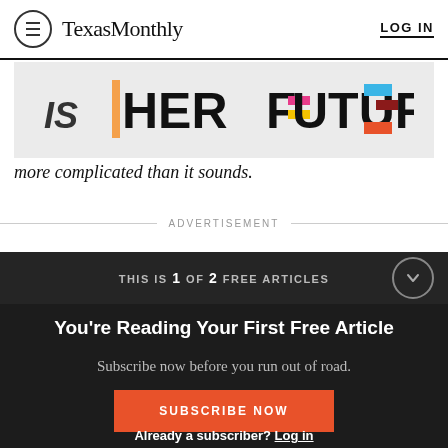Texas Monthly  LOG IN
[Figure (illustration): IS HER FUTURE advertisement banner with colorful block letters]
more complicated than it sounds.
ADVERTISEMENT
THIS IS 1 OF 2 FREE ARTICLES
You're Reading Your First Free Article
Subscribe now before you run out of road.
SUBSCRIBE NOW
Already a subscriber? Log in